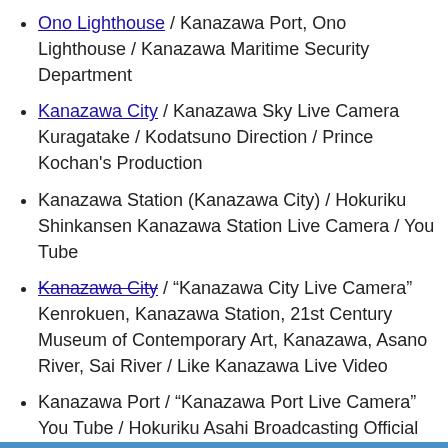Ono Lighthouse / Kanazawa Port, Ono Lighthouse / Kanazawa Maritime Security Department
Kanazawa City / Kanazawa Sky Live Camera Kuragatake / Kodatsuno Direction / Prince Kochan's Production
Kanazawa Station (Kanazawa City) / Hokuriku Shinkansen Kanazawa Station Live Camera / You Tube
Kanazawa City / “Kanazawa City Live Camera” Kenrokuen, Kanazawa Station, 21st Century Museum of Contemporary Art, Kanazawa, Asano River, Sai River / Like Kanazawa Live Video
Kanazawa Port / “Kanazawa Port Live Camera” You Tube / Hokuriku Asahi Broadcasting Official Page
Kanazawa Castle Park (Marunouchi, Kanazawa